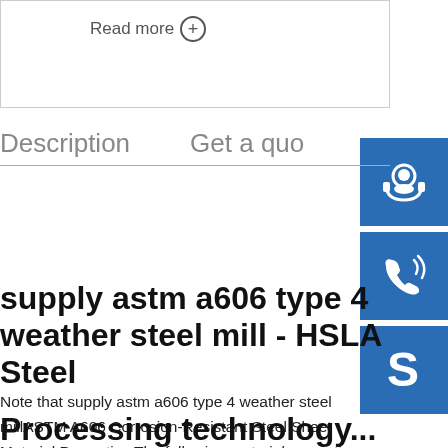Read more ⊕
Description    Get a quo
supply astm a606 type 4 weather steel mill - HSLA Steel
Note that supply astm a606 type 4 weather steel millASTM A606 Corrosion-Resistant Steel Sheet Material Properties The following material properties are ASTM specifications and will be confirmed on the Mill Test Report Grade Yield Point (ksi) Tensile Strength (ksi) Min. 2
Processing technology...